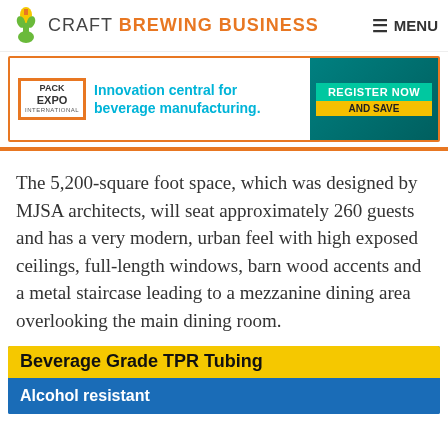CRAFT BREWING BUSINESS  MENU
[Figure (infographic): Pack Expo International advertisement banner: 'Innovation central for beverage manufacturing. REGISTER NOW AND SAVE']
The 5,200-square foot space, which was designed by MJSA architects, will seat approximately 260 guests and has a very modern, urban feel with high exposed ceilings, full-length windows, barn wood accents and a metal staircase leading to a mezzanine dining area overlooking the main dining room.
[Figure (infographic): Advertisement banner: 'Beverage Grade TPR Tubing - Alcohol resistant']